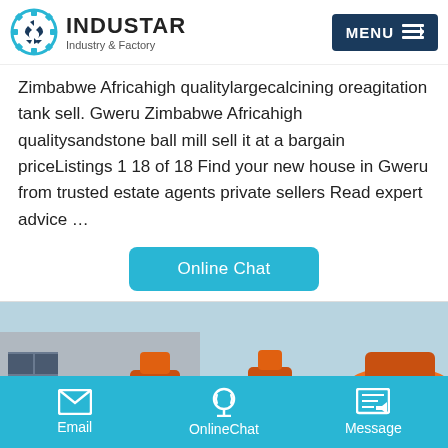INDUSTAR Industry & Factory
Zimbabwe Africahigh qualitylargecalcining oreagitation tank sell. Gweru Zimbabwe Africahigh qualitysandstone ball mill sell it at a bargain priceListings 1 18 of 18 Find your new house in Gweru from trusted estate agents private sellers Read expert advice …
Online Chat
[Figure (photo): Industrial orange ball mill machines lined up outside a factory building with a blue sky background.]
Email | OnlineChat | Message